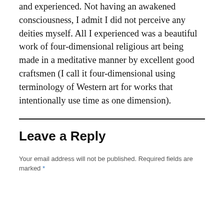straight reportage, telling exactly what I saw and experienced. Not having an awakened consciousness, I admit I did not perceive any deities myself. All I experienced was a beautiful work of four-dimensional religious art being made in a meditative manner by excellent good craftsmen (I call it four-dimensional using terminology of Western art for works that intentionally use time as one dimension).
Leave a Reply
Your email address will not be published. Required fields are marked *